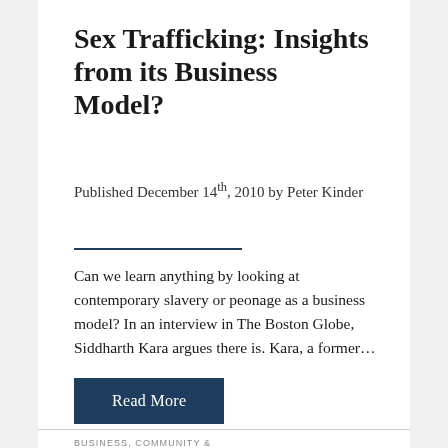Sex Trafficking: Insights from its Business Model?
Published December 14th, 2010 by Peter Kinder
Can we learn anything by looking at contemporary slavery or peonage as a business model? In an interview in The Boston Globe, Siddharth Kara argues there is. Kara, a former...
Read More
BUSINESS, COMMUNITY &